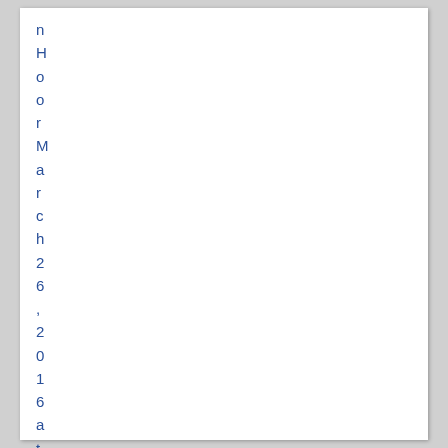n H o o r M a r c h 2 6 , 2 0 1 6 a t 2 : 3 6 p